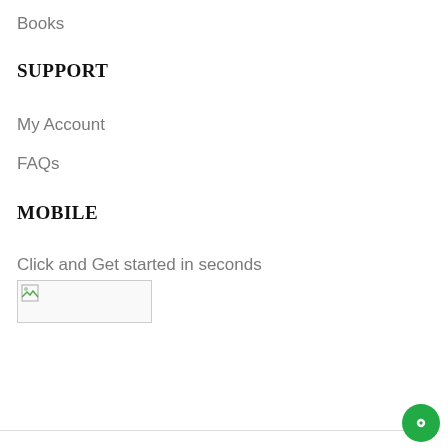Books
SUPPORT
My Account
FAQs
MOBILE
Click and Get started in seconds
[Figure (photo): Broken image placeholder for a mobile app download button]